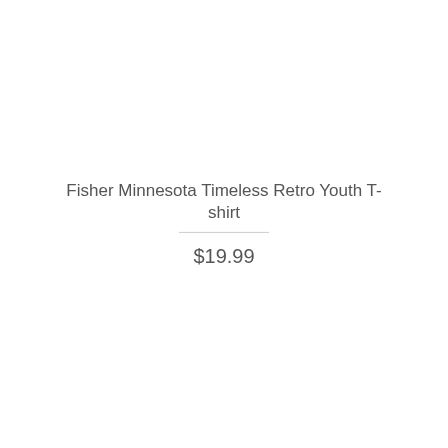Fisher Minnesota Timeless Retro Youth T-shirt
$19.99